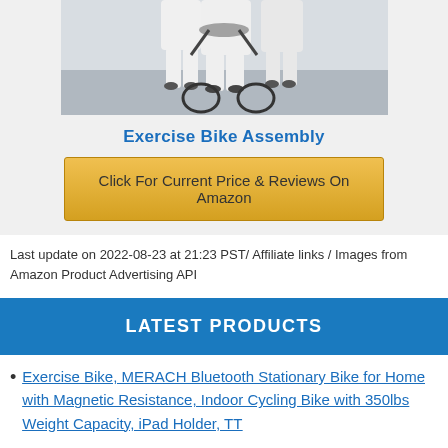[Figure (photo): Photo of people riding exercise bikes in a gym setting, showing lower bodies in white shorts on stationary bikes]
Exercise Bike Assembly
[Figure (other): Yellow/gold button: Click For Current Price & Reviews On Amazon]
Last update on 2022-08-23 at 21:23 PST/ Affiliate links / Images from Amazon Product Advertising API
LATEST PRODUCTS
Exercise Bike, MERACH Bluetooth Stationary Bike for Home with Magnetic Resistance, Indoor Cycling Bike with 350lbs Weight Capacity, iPad Holder, TT